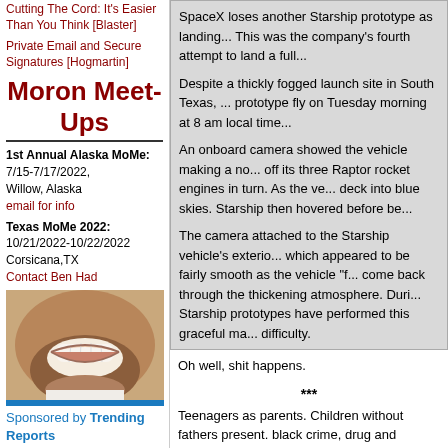Cutting The Cord: It's Easier Than You Think [Blaster]
Private Email and Secure Signatures [Hogmartin]
Moron Meet-Ups
1st Annual Alaska MoMe: 7/15-7/17/2022, Willow, Alaska email for info
Texas MoMe 2022: 10/21/2022-10/22/2022 Corsicana,TX Contact Ben Had
[Figure (photo): Close-up photo of a person smiling showing teeth]
Sponsored by Trending Reports
Anyone with Tooth Decay
SpaceX loses another Starship prototype as landing... This was the company's fourth attempt to land a full...
Despite a thickly fogged launch site in South Texas, ... prototype fly on Tuesday morning at 8 am local time...
An onboard camera showed the vehicle making a no... off its three Raptor rocket engines in turn. As the ve... deck into blue skies. Starship then hovered before be...
The camera attached to the Starship vehicle's exterio... which appeared to be fairly smooth as the vehicle "f... come back through the thickening atmosphere. Duri... Starship prototypes have performed this graceful ma... difficulty.
Oh well, shit happens.
***
Teenagers as parents. Children without fathers present. black crime, drug and alcohol abuse. Just some of our s... Americans no longer attend a house of worship?
Fewer than half of U.S. adults say they belong to a c...